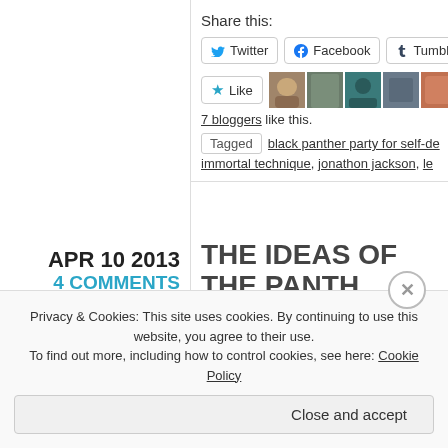Share this:
Twitter   Facebook   Tumblr
Like   [avatars]   7 bloggers like this.
Tagged   black panther party for self-de...
immortal technique, jonathon jackson, le...
APR 10 2013
4 COMMENTS
FEATURES
THE IDEAS OF THE PANTH... ONE)
Privacy & Cookies: This site uses cookies. By continuing to use this website, you agree to their use.
To find out more, including how to control cookies, see here: Cookie Policy
Close and accept